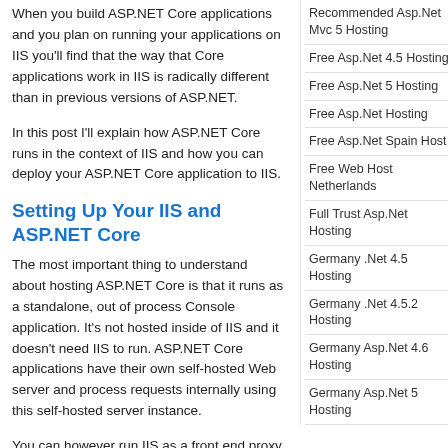When you build ASP.NET Core applications and you plan on running your applications on IIS you'll find that the way that Core applications work in IIS is radically different than in previous versions of ASP.NET.
In this post I'll explain how ASP.NET Core runs in the context of IIS and how you can deploy your ASP.NET Core application to IIS.
Setting Up Your IIS and ASP.NET Core
The most important thing to understand about hosting ASP.NET Core is that it runs as a standalone, out of process Console application. It's not hosted inside of IIS and it doesn't need IIS to run. ASP.NET Core applications have their own self-hosted Web server and process requests internally using this self-hosted server instance.
You can however run IIS as a front end proxy for ASP.NET Core applications, because Kestrel is a raw Web server that doesn't support all features that a full IIS...
Recommended Asp.Net Mvc 5 Hosting
Free Asp.Net 4.5 Hosting
Free Asp.Net 5 Hosting
Free Asp.Net Hosting
Free Asp.Net Spain Host
Free Web Host Netherlands
Full Trust Asp.Net Hosting
Germany .Net 4.5 Hosting
Germany .Net 4.5.2 Hosting
Germany Asp.Net 4.6 Hosting
Germany Asp.Net 5 Hosting